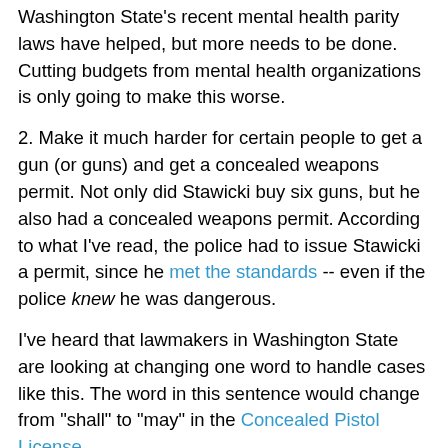Washington State's recent mental health parity laws have helped, but more needs to be done. Cutting budgets from mental health organizations is only going to make this worse.
2. Make it much harder for certain people to get a gun (or guns) and get a concealed weapons permit. Not only did Stawicki buy six guns, but he also had a concealed weapons permit. According to what I've read, the police had to issue Stawicki a permit, since he met the standards -- even if the police knew he was dangerous.
I've heard that lawmakers in Washington State are looking at changing one word to handle cases like this. The word in this sentence would change from "shall" to "may" in the Concealed Pistol License.
(1) The chief of police of a municipality or the sheriff of a county shall within thirty days after the filing of an application of any person, issue a license to such person to carry a pistol concealed on his or her person within this state for five years from date of issue, for the purposes of protection or while engaged in business, sport, or